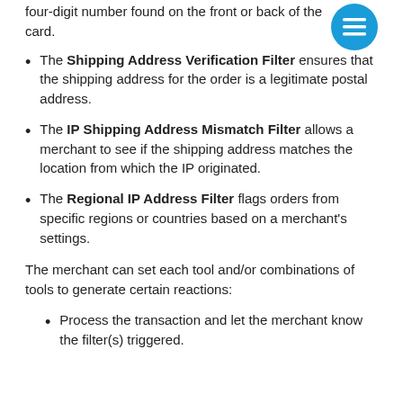four-digit number found on the front or back of the card.
The Shipping Address Verification Filter ensures that the shipping address for the order is a legitimate postal address.
The IP Shipping Address Mismatch Filter allows a merchant to see if the shipping address matches the location from which the IP originated.
The Regional IP Address Filter flags orders from specific regions or countries based on a merchant's settings.
The merchant can set each tool and/or combinations of tools to generate certain reactions:
Process the transaction and let the merchant know the filter(s) triggered.